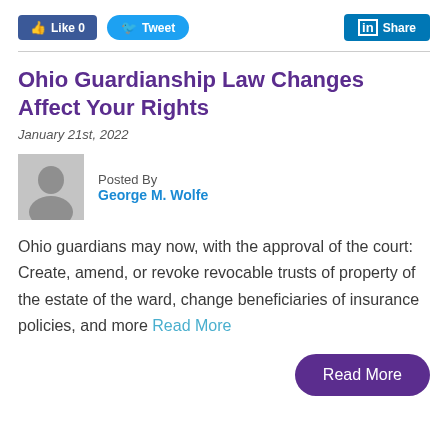Like 0  Tweet  Share
Ohio Guardianship Law Changes Affect Your Rights
January 21st, 2022
Posted By George M. Wolfe
Ohio guardians may now, with the approval of the court: Create, amend, or revoke revocable trusts of property of the estate of the ward, change beneficiaries of insurance policies, and more Read More
Read More